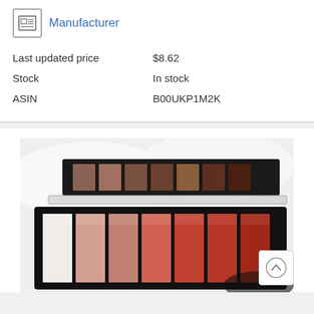Manufacturer
| Last updated price | $8.62 |
| Stock | In stock |
| ASIN | B00UKP1M2K |
[Figure (photo): Photo of an open makeup eyeshadow/lip color palette with multiple shades ranging from white to peach, orange, and dark brown/copper tones, displayed on a white fluffy background.]